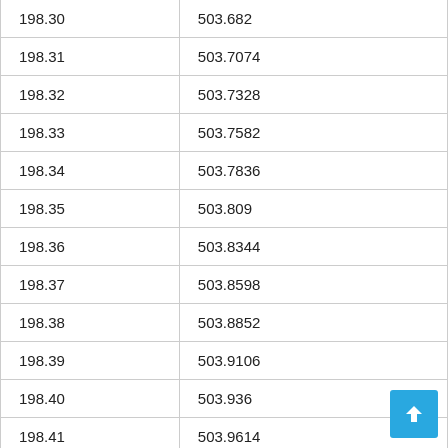| 198.30 | 503.682 |
| 198.31 | 503.7074 |
| 198.32 | 503.7328 |
| 198.33 | 503.7582 |
| 198.34 | 503.7836 |
| 198.35 | 503.809 |
| 198.36 | 503.8344 |
| 198.37 | 503.8598 |
| 198.38 | 503.8852 |
| 198.39 | 503.9106 |
| 198.40 | 503.936 |
| 198.41 | 503.9614 |
| 198.42 | 503.9868 |
| 198.43 | 504.0122 |
| 198.44 | 504.0376 |
| 198.45 | 504.063 |